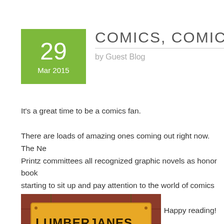COMICS, COMICS, C…
by Guest Blog
It's a great time to be a comics fan.
There are loads of amazing ones coming out right now. The Ne… Printz committees all recognized graphic novels as honor book… starting to sit up and pay attention to the world of comics and … here with a list for your kids (AND YOU!). Happy reading! And w…
[Figure (illustration): Lumberjanes comic book cover illustration showing a wooden barn sign reading LUMBERJANES with deer/animal characters below]